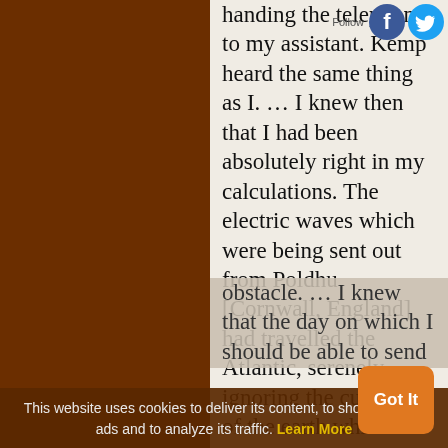handing the telephone to my assistant. Kemp heard the same thing as I. … I knew then that I had been absolutely right in my calculations. The electric waves which were being sent out from Poldhu [Cornwall, England] had travelled the Atlantic, serenely ignoring the curvature of the earth which so many doubters considered a fatal obstacle. … I knew that the day on which I should be able to send full messages without wires or cables across
This website uses cookies to deliver its content, to show relevant ads and to analyze its traffic. Learn More